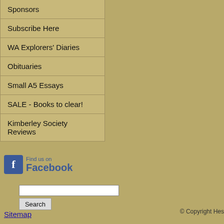Sponsors
Subscribe Here
WA Explorers' Diaries
Obituaries
Small A5 Essays
SALE - Books to clear!
Kimberley Society Reviews
[Figure (logo): Find us on Facebook badge with blue Facebook icon and text]
Sitemap
© Copyright Hes